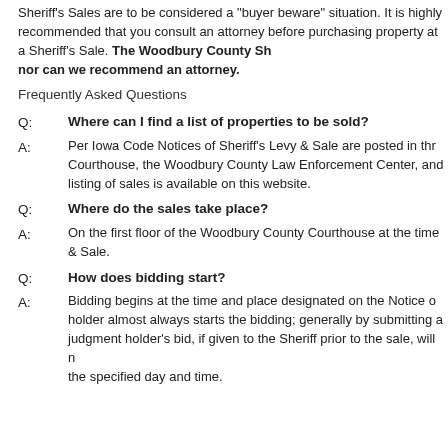Sheriff's Sales are to be considered a "buyer beware" situation. It is highly recommended that you consult an attorney before purchasing property at a Sheriff's Sale. The Woodbury County Sheriff's Office is not able to give legal advice, nor can we recommend an attorney.
Frequently Asked Questions
Q: Where can I find a list of properties to be sold?
A: Per Iowa Code Notices of Sheriff's Levy & Sale are posted in three public places: the Woodbury County Courthouse, the Woodbury County Law Enforcement Center, and the Woodbury County Recorder. A listing of sales is available on this website.
Q: Where do the sales take place?
A: On the first floor of the Woodbury County Courthouse at the time specified in the Notice of Levy & Sale.
Q: How does bidding start?
A: Bidding begins at the time and place designated on the Notice of Levy & Sale. The judgment holder almost always starts the bidding; generally by submitting a written bid to the Sheriff. The judgment holder's bid, if given to the Sheriff prior to the sale, will not take effect until the bidding opens at the specified day and time.